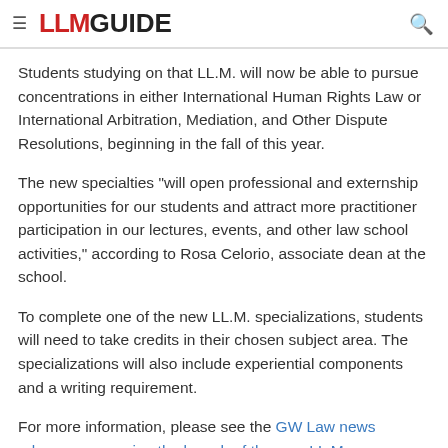≡ LLM GUIDE 🔍
Students studying on that LL.M. will now be able to pursue concentrations in either International Human Rights Law or International Arbitration, Mediation, and Other Dispute Resolutions, beginning in the fall of this year.
The new specialties "will open professional and externship opportunities for our students and attract more practitioner participation in our lectures, events, and other law school activities," according to Rosa Celorio, associate dean at the school.
To complete one of the new LL.M. specializations, students will need to take credits in their chosen subject area. The specializations will also include experiential components and a writing requirement.
For more information, please see the GW Law news release announcing the launch of the new LL.M. specializations.
You can read more about the school and its LL.M. offerings on GW Law's Full Profile at LLM GUIDE.